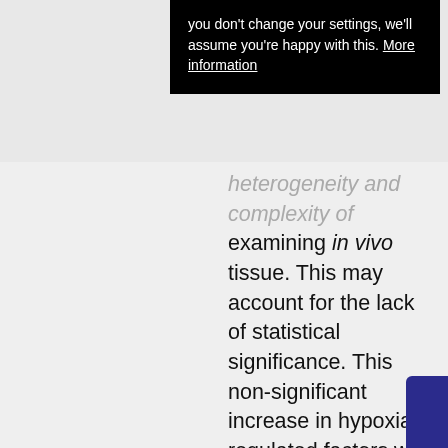you don't change your settings, we'll assume you're happy with this. More information
heterogeneity and complexity of examining in vivo tissue. This may account for the lack of statistical significance. This non-significant increase in hypoxia regulated factors was unexpected and may be due to relative low numbers but could also be explained by increased or prolonged endometrial hypoxia during menstruation in those women with obesity and mice on a high-fat diet. Alternatively, the physiological hypoxia of menstruation that is observed 8 h following progesterone withdrawal in the mouse model (Cousins et al. 2016, Maybin et al. 2018) may be delayed until 24 h in mice with increased body weight. The role of hypoxia in obesity is debated in the literature. Mouse studies suggest hypoxia in adipose